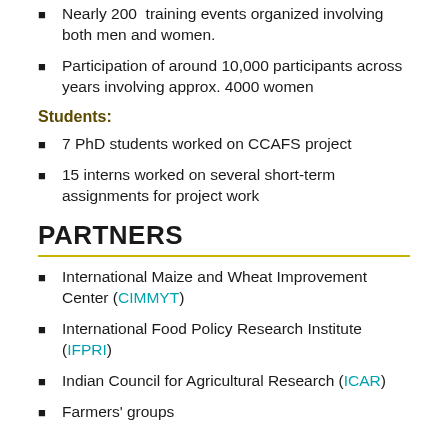Nearly 200 training events organized involving both men and women.
Participation of around 10,000 participants across years involving approx. 4000 women
Students:
7 PhD students worked on CCAFS project
15 interns worked on several short-term assignments for project work
PARTNERS
International Maize and Wheat Improvement Center (CIMMYT)
International Food Policy Research Institute (IFPRI)
Indian Council for Agricultural Research (ICAR)
Farmers' groups